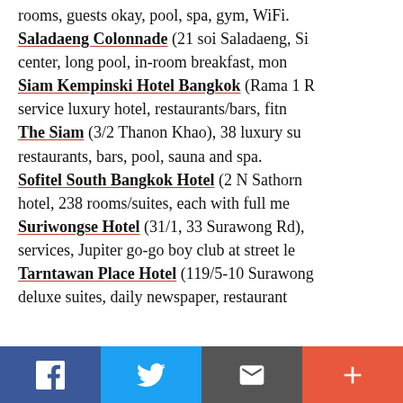rooms, guests okay, pool, spa, gym, WiFi. Saladaeng Colonnade (21 soi Saladaeng, Si... center, long pool, in-room breakfast, mon... Siam Kempinski Hotel Bangkok (Rama 1 R... service luxury hotel, restaurants/bars, fitn... The Siam (3/2 Thanon Khao), 38 luxury su... restaurants, bars, pool, sauna and spa. Sofitel South Bangkok Hotel (2 N Sathorn... hotel, 238 rooms/suites, each with full me... Suriwongse Hotel (31/1, 33 Surawong Rd), ... services, Jupiter go-go boy club at street le... Tarntawan Place Hotel (119/5-10 Surawong... deluxe suites, daily newspaper, restaurant...
f | Twitter | email | +